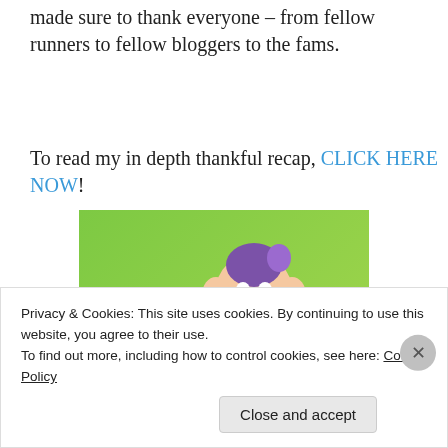made sure to thank everyone – from fellow runners to fellow bloggers to the fams.
To read my in depth thankful recap, CLICK HERE NOW!
[Figure (illustration): Dopey from Snow White dressed in running gear on a green background with orange swoosh and text 'WALT DISNEY WORLD. I RAN 48.6 MILES!']
Privacy & Cookies: This site uses cookies. By continuing to use this website, you agree to their use.
To find out more, including how to control cookies, see here: Cookie Policy
Close and accept